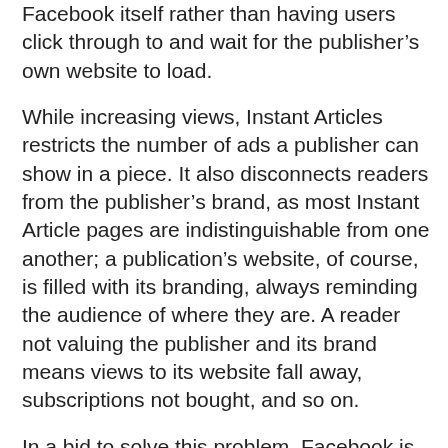Facebook itself rather than having users click through to and wait for the publisher's own website to load.
While increasing views, Instant Articles restricts the number of ads a publisher can show in a piece. It also disconnects readers from the publisher's brand, as most Instant Article pages are indistinguishable from one another; a publication's website, of course, is filled with its branding, always reminding the audience of where they are. A reader not valuing the publisher and its brand means views to its website fall away, subscriptions not bought, and so on.
In a bid to solve this problem, Facebook is trialling packages of Instant Articles, while will allow users to click through a cover story on the news feed and then choose between a number of the publisher's stories, keeping them with that outlet for longer.